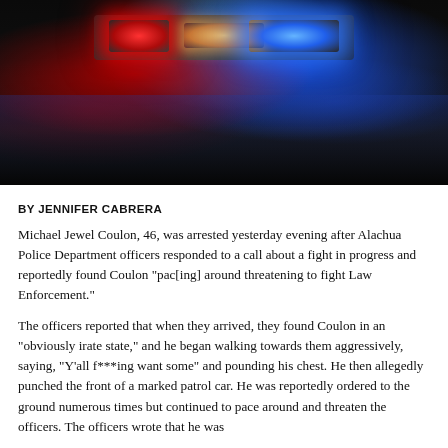[Figure (photo): Police car with red and blue emergency lights illuminated against a dark background at night]
BY JENNIFER CABRERA
Michael Jewel Coulon, 46, was arrested yesterday evening after Alachua Police Department officers responded to a call about a fight in progress and reportedly found Coulon "pac[ing] around threatening to fight Law Enforcement."
The officers reported that when they arrived, they found Coulon in an "obviously irate state," and he began walking towards them aggressively, saying, "Y'all f***ing want some" and pounding his chest. He then allegedly punched the front of a marked patrol car. He was reportedly ordered to the ground numerous times but continued to pace around and threaten the officers. The officers wrote that he was